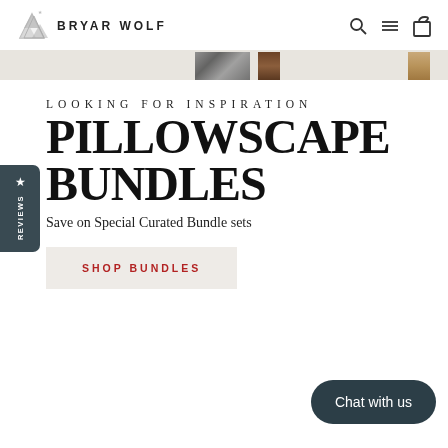BRYAR WOLF
[Figure (photo): Banner strip showing fabric/material swatches including textured gray, brown wood, and light wood tones on a light beige background]
LOOKING FOR INSPIRATION PILLOWSCAPE BUNDLES
Save on Special Curated Bundle sets
SHOP BUNDLES
Chat with us